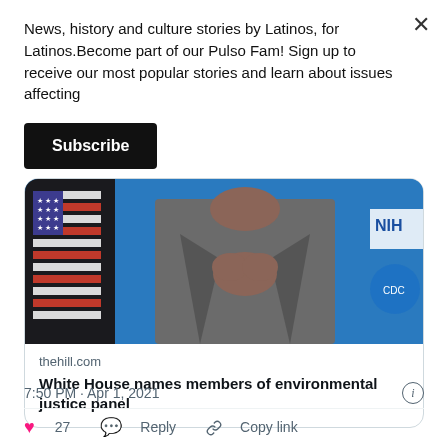News, history and culture stories by Latinos, for Latinos.Become part of our Pulso Fam! Sign up to receive our most popular stories and learn about issues affecting
Subscribe
[Figure (photo): Photo of a person in a grey suit with hands pressed together in front of an American flag and blue NIH backdrop]
thehill.com
White House names members of environmental justice panel
7:50 PM · Apr 1, 2021
27  Reply  Copy link